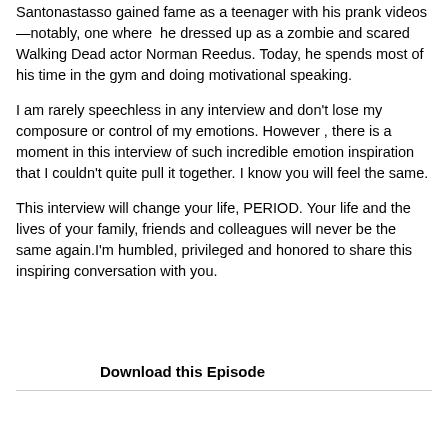Santonastasso gained fame as a teenager with his prank videos—notably, one where he dressed up as a zombie and scared Walking Dead actor Norman Reedus. Today, he spends most of his time in the gym and doing motivational speaking.
I am rarely speechless in any interview and don't lose my composure or control of my emotions. However , there is a moment in this interview of such incredible emotion inspiration that I couldn't quite pull it together. I know you will feel the same.
This interview will change your life, PERIOD. Your life and the lives of your family, friends and colleagues will never be the same again.I'm humbled, privileged and honored to share this inspiring conversation with you.
Download this Episode